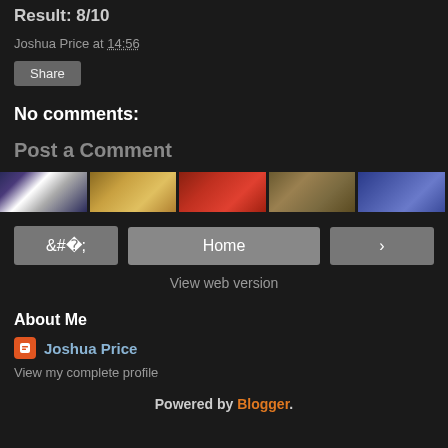Result: 8/10
Joshua Price at 14:56
Share
No comments:
Post a Comment
[Figure (photo): Horizontal strip of thumbnail images]
< Home >
View web version
About Me
Joshua Price
View my complete profile
Powered by Blogger.